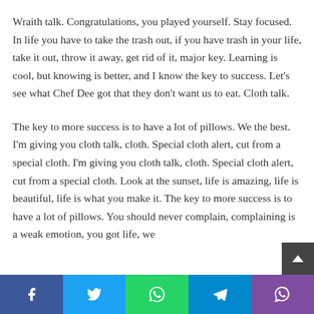Wraith talk. Congratulations, you played yourself. Stay focused. In life you have to take the trash out, if you have trash in your life, take it out, throw it away, get rid of it, major key. Learning is cool, but knowing is better, and I know the key to success. Let's see what Chef Dee got that they don't want us to eat. Cloth talk.
The key to more success is to have a lot of pillows. We the best. I'm giving you cloth talk, cloth. Special cloth alert, cut from a special cloth. I'm giving you cloth talk, cloth. Special cloth alert, cut from a special cloth. Look at the sunset, life is amazing, life is beautiful, life is what you make it. The key to more success is to have a lot of pillows. You should never complain, complaining is a weak emotion, you got life, we
Facebook Twitter WhatsApp Telegram Viber